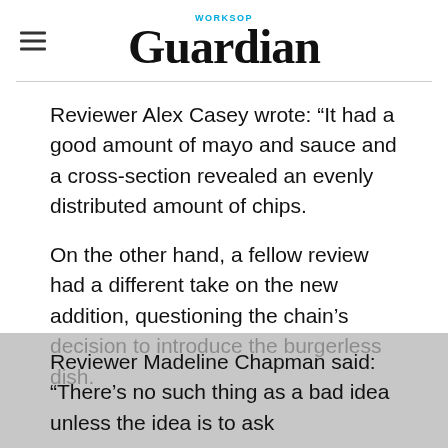Worksop Guardian
Reviewer Alex Casey wrote: “It had a good amount of mayo and sauce and a cross-section revealed an evenly distributed amount of chips.
On the other hand, a fellow review had a different take on the new addition, questioning the chain’s decision to introduce the burgerless dish.
Reviewer Madeline Chapman said: “There’s no such thing as a bad idea unless the idea is to ask